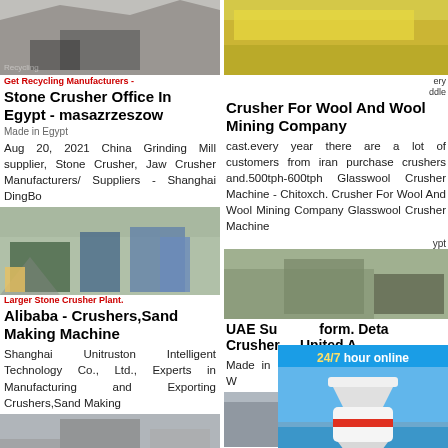[Figure (photo): Stone crusher machinery photo - top left]
Stone Crusher Office In Egypt - masazrzeszow
Made in Egypt
Aug 20, 2021 China Grinding Mill supplier, Stone Crusher, Jaw Crusher Manufacturers/Suppliers - Shanghai DingBo
[Figure (photo): Stone crusher plant - large outdoor facility]
Alibaba - Crushers,Sand Making Machine
Shanghai Unitruston Intelligent Technology Co., Ltd., Experts in Manufacturing and Exporting Crushers,Sand Making
[Figure (photo): Bottom left crusher facility]
[Figure (photo): Crusher for wool - yellow machine top right]
Crusher For Wool And Wool Mining Company
cast.every year there are a lot of customers from iran purchase crushers and.500tph-600tph Glasswool Crusher Machine - Chitoxch. Crusher For Wool And Wool Mining Company Glasswool Crusher Machine
[Figure (photo): Right middle crusher plant photo]
UAE Su... form. Deta... Crusher... United A...
Made in U... Crusher M... Offering W...
[Figure (photo): Bottom right crusher photo]
[Figure (infographic): 24/7 hour online chat widget with cone crusher image, Click me to chat button, Enquiry section, limingjlmofen]
24/7 hour online
Click me to chat>>
Enquiry
limingjlmofen